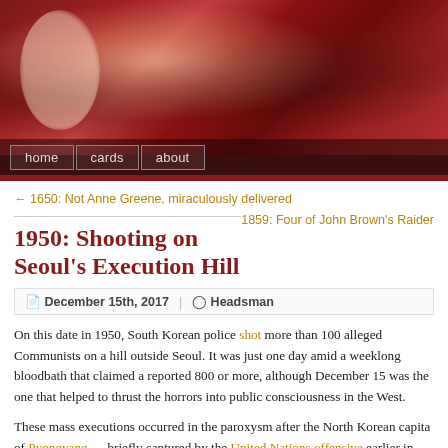[Figure (illustration): Website banner header image showing a dark reddish-brown painting of figures in a dramatic scene, resembling a classic execution painting. Navigation bar below with 'home', 'cards', 'about' buttons.]
← 1650: Not Anne Greene, miraculously delivered
1859: Four of John Brown's Raiders →
1950: Shooting on Seoul's Execution Hill
December 15th, 2017  |  Headsman
On this date in 1950, South Korean police shot more than 100 alleged Communists on a hill outside Seoul. It was just one day amid a weeklong bloodbath that claimed a reported 800 or more, although December 15 was the one that helped to thrust the horrors into public consciousness in the West.
These mass executions occurred in the paroxysm after the North Korean capital of Pyongyang — briefly captured by the United Nations offensive earlier in 1950 — was retaken by Chinese-supported Communist forces in early December.
These were themselves only the most recent installment of numerous